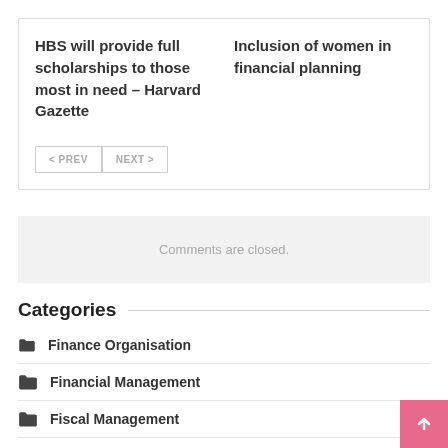HBS will provide full scholarships to those most in need – Harvard Gazette
Inclusion of women in financial planning
< PREV   NEXT >
Comments are closed.
Categories
Finance Organisation
Financial Management
Fiscal Management